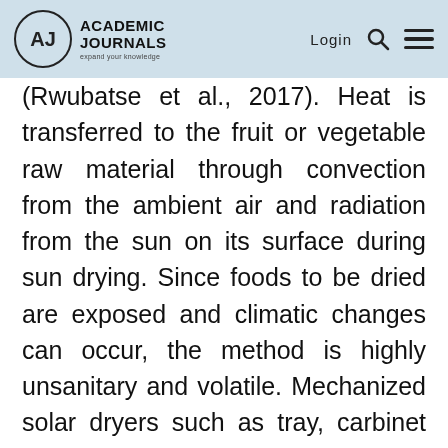Academic Journals — Login
(Rwubatse et al., 2017). Heat is transferred to the fruit or vegetable raw material through convection from the ambient air and radiation from the sun on its surface during sun drying. Since foods to be dried are exposed and climatic changes can occur, the method is highly unsanitary and volatile. Mechanized solar dryers such as tray, carbinet and tunnel dryers have been designed to overcome the challenges of damage, dust, pest infestation and unexpected rainfall encountered in open air drying (Pragati and Preeti, 2014; Rwubatse et al., 2014; Karam et al 2016; Ajuebor et al., 2017). Application of mechanized drying to